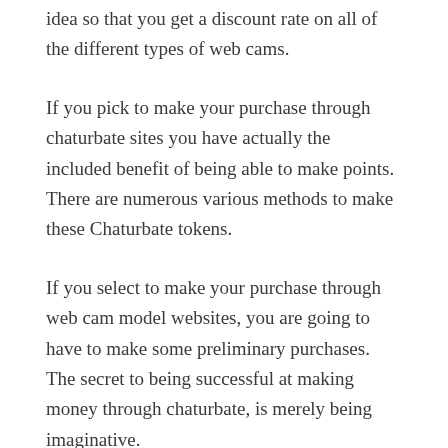idea so that you get a discount rate on all of the different types of web cams.
If you pick to make your purchase through chaturbate sites you have actually the included benefit of being able to make points. There are numerous various methods to make these Chaturbate tokens.
If you select to make your purchase through web cam model websites, you are going to have to make some preliminary purchases. The secret to being successful at making money through chaturbate, is merely being imaginative.
Another tip you desire to keep in mind, is to sign up to more than one chaturbate website. This tip is the foundation of making money from online webcam websites.
The third and last idea that you should bear in mind when promoting your chaturbate website, is to purchase some sort of